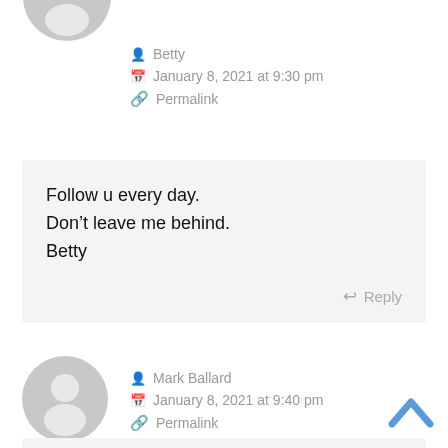[Figure (illustration): Partial grey user avatar silhouette at top of page (cropped)]
Betty
January 8, 2021 at 9:30 pm
Permalink
Follow u every day.
Don't leave me behind.
Betty
Reply
[Figure (illustration): Grey default user avatar circle with person silhouette for Mark Ballard]
Mark Ballard
January 8, 2021 at 9:40 pm
Permalink